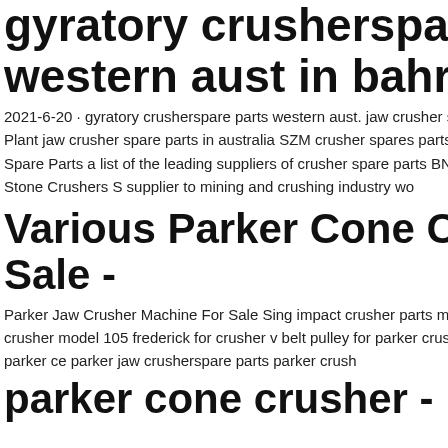gyratory crusherspare parts western aust in bahrain
2021-6-20 · gyratory crusherspare parts western aust. jaw crusher spare parts australia Mobile Crushing Plant jaw crusher spare parts in australia SZM crusher spares parts australia stone crusher machine Crusher Spare Parts a list of the leading suppliers of crusher spare parts BNT International Wear and Spare Parts for Stone Crushers S supplier to mining and crushing industry wo
Various Parker Cone C r Sale -
Parker Jaw Crusher Machine For Sale Sing impact crusher parts manual used parker ja parker impact crusher model 105 frederick for crusher v belt pulley for parker crusher p crusher 150-200 tonnes per hour parker ce parker jaw crusherspare parts parker crush
[Figure (illustration): Blue sidebar widget showing a cone crusher machine image with '24/7 hour online' label, a 'Click me to chat>>' button, an 'Enquiry' section, and 'limingjlmofen' text at the bottom.]
parker cone crusher - P